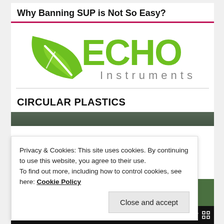Why Banning SUP is Not So Easy?
[Figure (logo): Echo Instruments logo: green leaf shape on left, large green text ECHO with circular O, gray text Instruments below]
CIRCULAR PLASTICS
[Figure (screenshot): Video thumbnail showing a man with long hair in front of green foliage background]
Privacy & Cookies: This site uses cookies. By continuing to use this website, you agree to their use.
To find out more, including how to control cookies, see here: Cookie Policy
Close and accept
[Figure (screenshot): Video player controls bar showing play button, time 00:00, progress bar, duration 03:27, and fullscreen button]